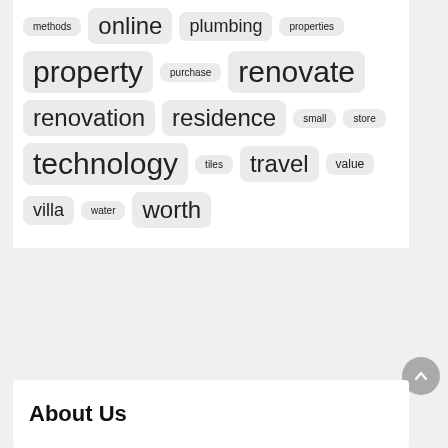[Figure (infographic): Tag cloud with words of varying sizes representing website topics: methods, online, plumbing, properties, property, purchase, renovate, renovation, residence, small, store, technology, tiles, travel, value, villa, water, worth]
About Us